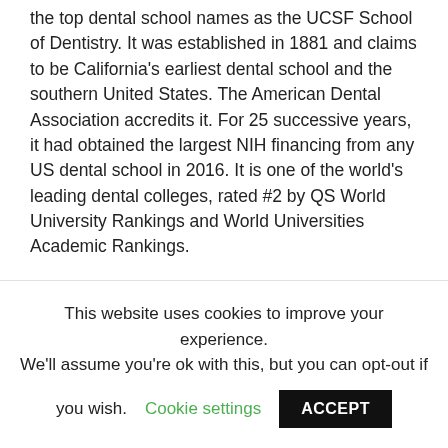the top dental school names as the UCSF School of Dentistry. It was established in 1881 and claims to be California's earliest dental school and the southern United States. The American Dental Association accredits it. For 25 successive years, it had obtained the largest NIH financing from any US dental school in 2016. It is one of the world's leading dental colleges, rated #2 by QS World University Rankings and World Universities Academic Rankings.
3. University of Michigan School of
This website uses cookies to improve your experience. We'll assume you're ok with this, but you can opt-out if you wish. Cookie settings ACCEPT